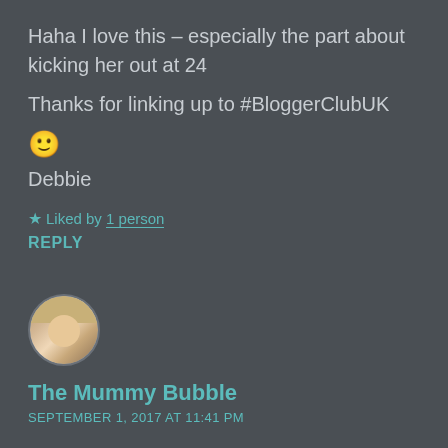Haha I love this – especially the part about kicking her out at 24
Thanks for linking up to #BloggerClubUK 🙂
Debbie
★ Liked by 1 person
REPLY
[Figure (photo): Circular avatar photo of The Mummy Bubble blogger, a woman with blonde hair]
The Mummy Bubble
SEPTEMBER 1, 2017 AT 11:41 PM